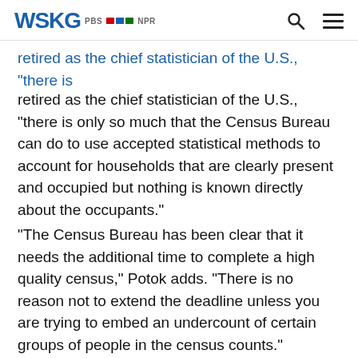WSKG PBS NPR
retired as the chief statistician of the U.S., “there is only so much that the Census Bureau can do to use accepted statistical methods to account for households that are clearly present and occupied but nothing is known directly about the occupants.”
“The Census Bureau has been clear that it needs the additional time to complete a high quality census,” Potok adds. “There is no reason not to extend the deadline unless you are trying to embed an undercount of certain groups of people in the census counts.”
The continued lack of clarity in the census timeline will make it more difficult to try to ensure a